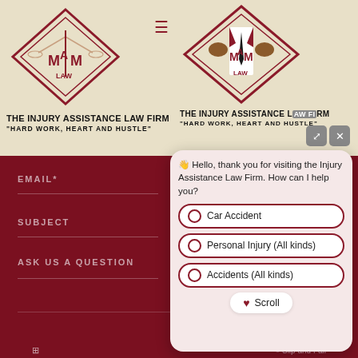[Figure (logo): MAM Law diamond-shaped logo for The Injury Assistance Law Firm on cream background, left side]
THE INJURY ASSISTANCE LAW FIRM
"HARD WORK, HEART AND HUSTLE"
[Figure (logo): MAM Law diamond-shaped logo with suited figure for The Injury Assistance Law Firm, right side]
THE INJURY ASSISTANCE LAW FIRM
"HARD WORK, HEART AND HUSTLE"
EMAIL*
SUBJECT
ASK US A QUESTION
👋 Hello, thank you for visiting the Injury Assistance Law Firm. How can I help you?
Car Accident
Personal Injury (All kinds)
Accidents (All kinds)
Scroll